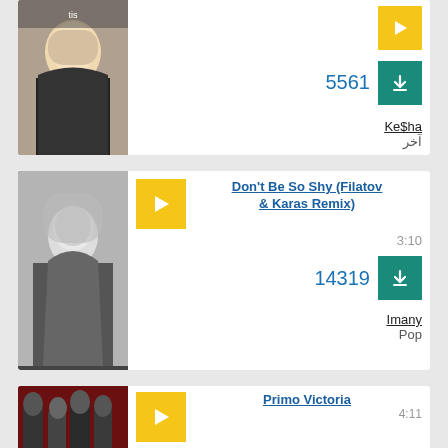[Figure (screenshot): Music streaming app card showing Ke$ha song with download count 5561 and Arabic text آخر]
[Figure (screenshot): Music streaming app card for Don't Be So Shy (Filatov & Karas Remix) by Imany, 3:10, 14319 downloads, Pop]
[Figure (screenshot): Music streaming app card for Primo Victoria, 4:11, partial view]